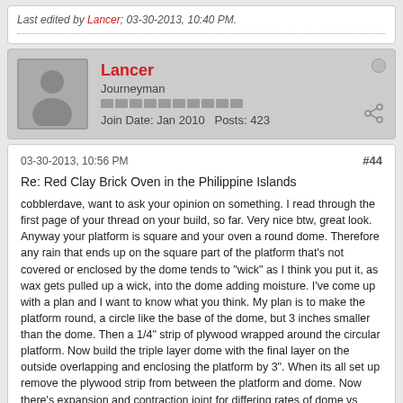Last edited by Lancer; 03-30-2013, 10:40 PM.
Lancer
Journeyman
Join Date: Jan 2010   Posts: 423
03-30-2013, 10:56 PM   #44
Re: Red Clay Brick Oven in the Philippine Islands
cobblerdave, want to ask your opinion on something. I read through the first page of your thread on your build, so far. Very nice btw, great look. Anyway your platform is square and your oven a round dome. Therefore any rain that ends up on the square part of the platform that's not covered or enclosed by the dome tends to "wick" as I think you put it, as wax gets pulled up a wick, into the dome adding moisture. I've come up with a plan and I want to know what you think. My plan is to make the platform round, a circle like the base of the dome, but 3 inches smaller than the dome. Then a 1/4" strip of plywood wrapped around the circular platform. Now build the triple layer dome with the final layer on the outside overlapping and enclosing the platform by 3". When its all set up remove the plywood strip from between the platform and dome. Now there's expansion and contraction joint for differing rates of dome vs platform...no stress cracks. The dome sits on the platform and also encloses it. Any water that lands on the dome runs off like a roof and gets no chance to land on the platform and wick in.